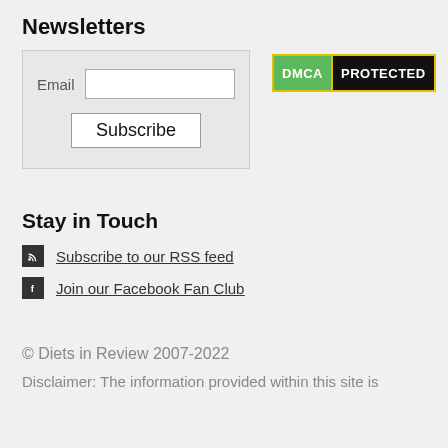Newsletters
[Figure (screenshot): Newsletter email subscription form with Email input field and Subscribe button on grey background, alongside DMCA Protected badge]
Stay in Touch
Subscribe to our RSS feed
Join our Facebook Fan Club
© Diets in Review 2007-2022
Disclaimer: The information provided within this site is